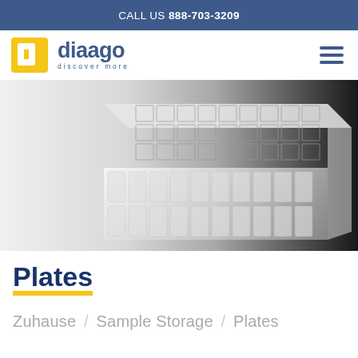CALL US 888-703-3209
[Figure (logo): Diaago logo with yellow 'd' icon and blue text 'diaago' with tagline 'discover more']
[Figure (photo): Close-up photograph of a transparent multi-well laboratory sample storage plate on dark background]
Plates
Zuhause / Sample Storage / Plates